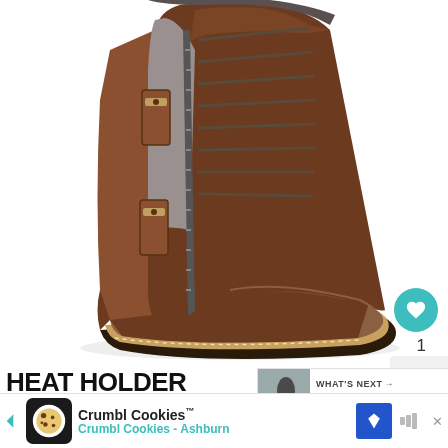[Figure (photo): Brown leather men's lace-up combat boot with side zipper and buckle straps, cap toe, shown on white background]
HEAT HOLDER MEN'S ORIGINAL SOLE THERMAL SOCKS
[Figure (screenshot): WHAT'S NEXT banner: What to wear in NYC by...]
Crumbl Cookies™ Crumbl Cookies - Ashburn
$1